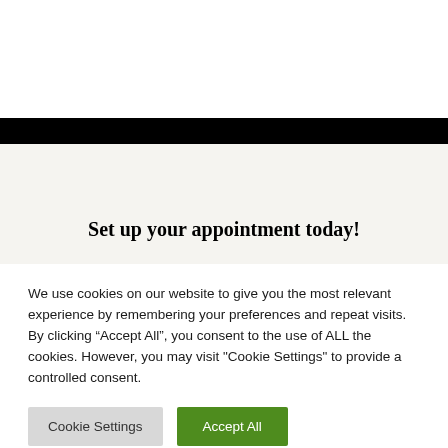[Figure (other): White top section of a webpage]
[Figure (other): Black horizontal navigation bar]
[Figure (other): Light gray section background]
Set up your appointment today!
We use cookies on our website to give you the most relevant experience by remembering your preferences and repeat visits. By clicking “Accept All”, you consent to the use of ALL the cookies. However, you may visit "Cookie Settings" to provide a controlled consent.
Cookie Settings
Accept All